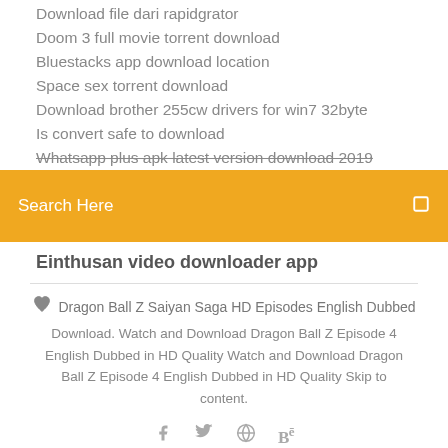Download file dari rapidgrator
Doom 3 full movie torrent download
Bluestacks app download location
Space sex torrent download
Download brother 255cw drivers for win7 32byte
Is convert safe to download
Whatsapp plus apk latest version download 2019
Search Here
Einthusan video downloader app
Dragon Ball Z Saiyan Saga HD Episodes English Dubbed Download. Watch and Download Dragon Ball Z Episode 4 English Dubbed in HD Quality Watch and Download Dragon Ball Z Episode 4 English Dubbed in HD Quality Skip to content.